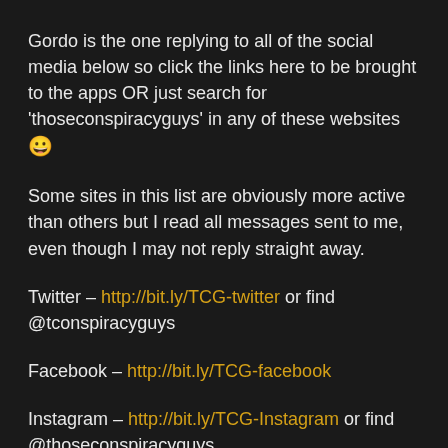Gordo is the one replying to all of the social media below so click the links here to be brought to the apps OR just search for 'thoseconspiracyguys' in any of these websites 😀
Some sites in this list are obviously more active than others but I read all messages sent to me, even though I may not reply straight away.
Twitter – http://bit.ly/TCG-twitter or find @tconspiracyguys
Facebook – http://bit.ly/TCG-facebook
Instagram – http://bit.ly/TCG-Instagram or find @thoseconspiracyguys